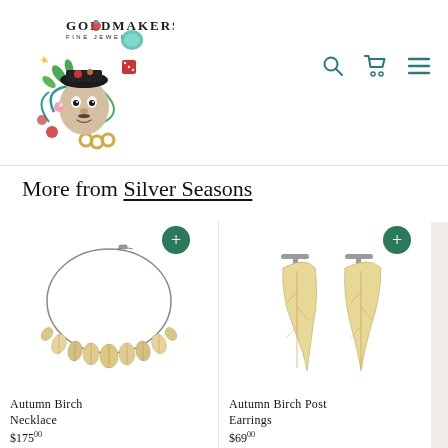[Figure (logo): Goldmakers Fine Jewelry logo with illustrated decorative figure surrounded by colorful gems, flowers, and ornaments]
GOLDMAKERS
FINE JEWELRY
More from Silver Seasons
[Figure (photo): Autumn Birch Necklace - a delicate silver chain necklace with small gold leaf charms]
Autumn Birch Necklace
$175.00
[Figure (photo): Autumn Birch Post Earrings - a pair of gold leaf-shaped post earrings with T-bar tops]
Autumn Birch Post Earrings
$69.00
[Figure (photo): Bamboo product (partially visible), gold-toned with geometric frame design]
Bambo...
$98.00